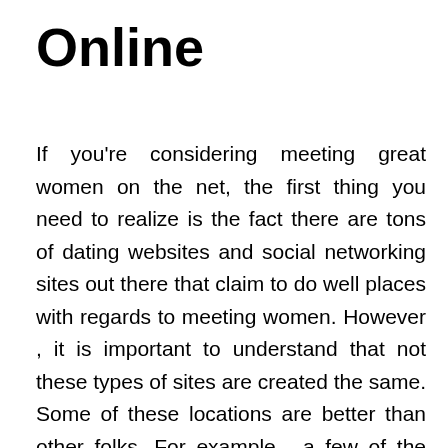Online
If you're considering meeting great women on the net, the first thing you need to realize is the fact there are tons of dating websites and social networking sites out there that claim to do well places with regards to meeting women. However , it is important to understand that not these types of sites are created the same. Some of these locations are better than other folks. For example , a few of the online dating sites that claim to be good places meant for meeting very good women may actually be places that you will have a more difficult time get together women. Due to the fact of how many of these